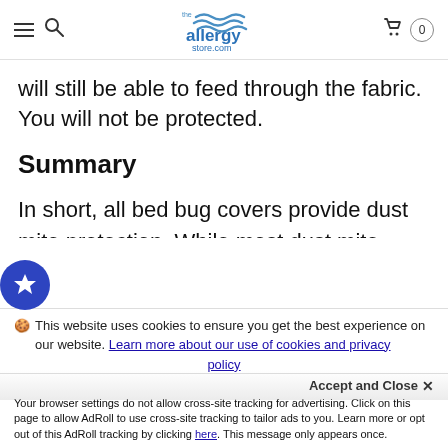the allergy store.com — navigation bar with hamburger menu, search, logo, cart (0)
will still be able to feed through the fabric. You will not be protected.
Summary
In short, all bed bug covers provide dust mite protection. While most dust mite proof covers will keep bed bugs out they will not work for an active infestation. Which you use depends on whether or not bed bugs are present
This website uses cookies to ensure you get the best experience on our website. Learn more about our use of cookies and privacy policy
Accept and Close ✕
Your browser settings do not allow cross-site tracking for advertising. Click on this page to allow AdRoll to use cross-site tracking to tailor ads to you. Learn more or opt out of this AdRoll tracking by clicking here. This message only appears once.